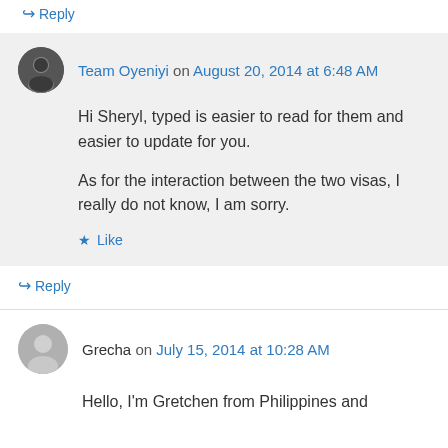↪ Reply
Team Oyeniyi on August 20, 2014 at 6:48 AM
Hi Sheryl, typed is easier to read for them and easier to update for you.

As for the interaction between the two visas, I really do not know, I am sorry.

★ Like
↪ Reply
Grecha on July 15, 2014 at 10:28 AM
Hello, I'm Gretchen from Philippines and